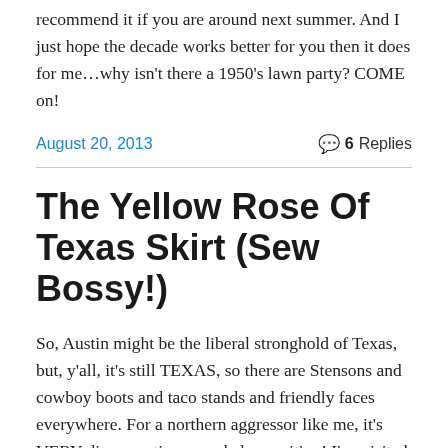recommend it if you are around next summer. And I just hope the decade works better for you then it does for me…why isn't there a 1950's lawn party? COME on!
August 20, 2013
6 Replies
The Yellow Rose Of Texas Skirt (Sew Bossy!)
So, Austin might be the liberal stronghold of Texas, but, y'all, it's still TEXAS, so there are Stensons and cowboy boots and taco stands and friendly faces everywhere. For a northern aggressor like me, it's VERY disconcerting… and also exciting! I've visited the South before, but never ever Texas, and Austin is mighty cool, I must say. We went to a speakeasy that is a converted brothel, we saw Tony